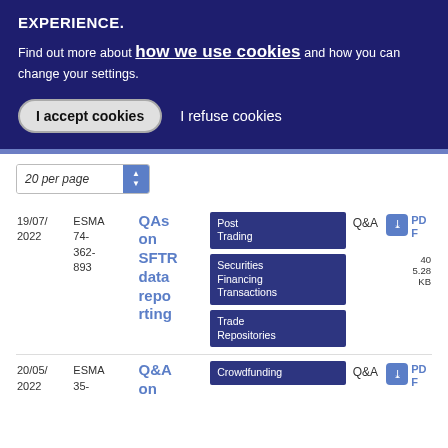EXPERIENCE.
Find out more about how we use cookies and how you can change your settings.
I accept cookies
I refuse cookies
[Figure (screenshot): 20 per page dropdown selector with blue arrow button]
19/07/ 2022	ESMA 74-362-893	QAs on SFTR data reporting	Post Trading / Securities Financing Transactions / Trade Repositories	Q&A	PDF	405.28 KB
20/05/ 2022	ESMA 35-	Q&A on	Crowdfunding	Q&A	PDF